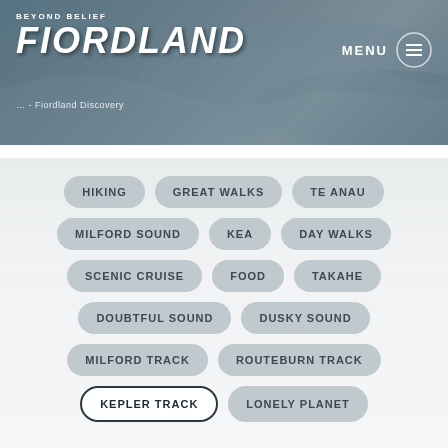[Figure (screenshot): Hero image with kayak/water scene, Fiordland tourism website header]
BEYOND BELIEF FIORDLAND — MENU
... - Fiordland Discovery
HIKING
GREAT WALKS
TE ANAU
MILFORD SOUND
KEA
DAY WALKS
SCENIC CRUISE
FOOD
TAKAHE
DOUBTFUL SOUND
DUSKY SOUND
MILFORD TRACK
ROUTEBURN TRACK
KEPLER TRACK
LONELY PLANET